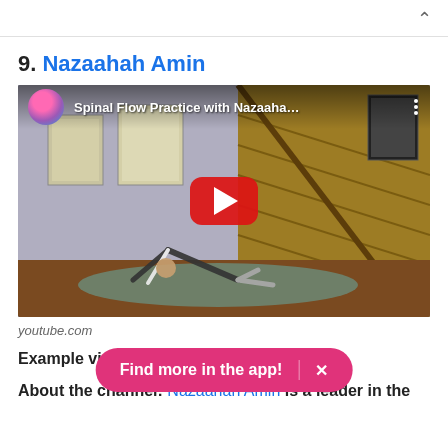^
9. Nazaahah Amin
[Figure (screenshot): YouTube video thumbnail showing 'Spinal Flow Practice with Nazaaha...' with a person doing a yoga pose (downward dog variant) on a mat in a home setting with a staircase. A red YouTube play button is overlaid in the center.]
youtube.com
Example video: Spinal Flow Practice
About the channel: Nazaahah Amin is a leader in the
Find more in the app! ×